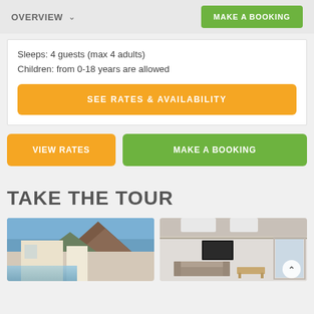OVERVIEW  ∨    MAKE A BOOKING
Sleeps: 4 guests (max 4 adults)
Children: from 0-18 years are allowed
SEE RATES & AVAILABILITY
VIEW RATES
MAKE A BOOKING
TAKE THE TOUR
[Figure (photo): Exterior photo of property with mountains in background at dusk, pool visible]
[Figure (photo): Interior living room photo with modern furnishings, skylights, and large windows]